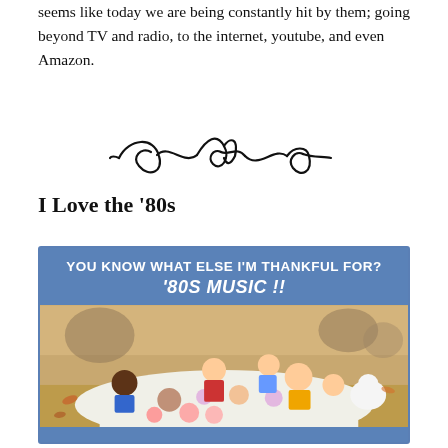seems like today we are being constantly hit by them; going beyond TV and radio, to the internet, youtube, and even Amazon.
[Figure (illustration): Decorative swirl/flourish divider element in black]
I Love the ‘80s
[Figure (photo): Meme image with blue background at top reading 'YOU KNOW WHAT ELSE I’M THANKFUL FOR? ‘80S MUSIC!!' with a Peanuts cartoon Thanksgiving scene below showing Charlie Brown, Snoopy, Linus, Sally, Peppermint Patty and Franklin seated at an outdoor table.]